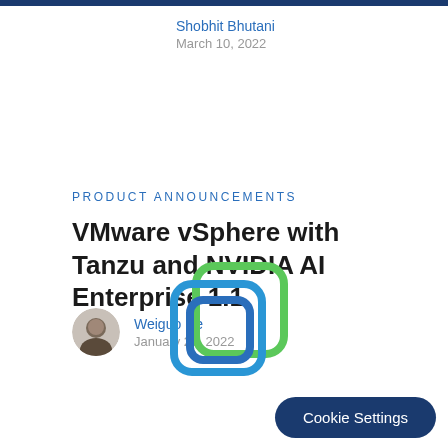Shobhit Bhutani
March 10, 2022
Product Announcements
VMware vSphere with Tanzu and NVIDIA AI Enterprise 1.1
Weiguo He
January 28, 2022
[Figure (logo): VMware overlapping rounded square logo in blue and green]
Cookie Settings